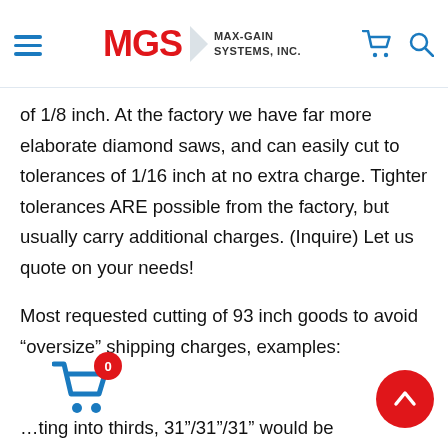MGS MAX-GAIN SYSTEMS, INC.
of 1/8 inch. At the factory we have far more elaborate diamond saws, and can easily cut to tolerances of 1/16 inch at no extra charge. Tighter tolerances ARE possible from the factory, but usually carry additional charges. (Inquire) Let us quote on your needs!
Most requested cutting of 93 inch goods to avoid “oversize” shipping charges, examples:
...cutting into thirds, 31”/31”/31” would be $5.00